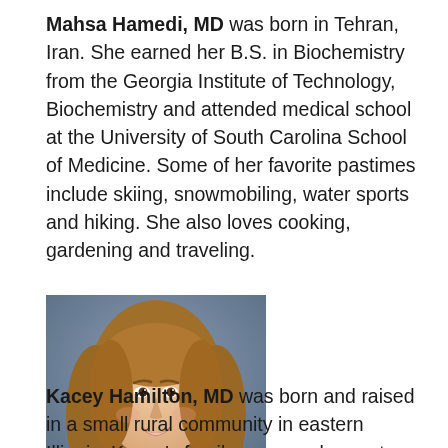Mahsa Hamedi, MD was born in Tehran, Iran. She earned her B.S. in Biochemistry from the Georgia Institute of Technology, Biochemistry and attended medical school at the University of South Carolina School of Medicine. Some of her favorite pastimes include skiing, snowmobiling, water sports and hiking. She also loves cooking, gardening and traveling.
[Figure (photo): Professional headshot of Kacey Hamilton, MD — a young woman with long blonde-brown hair wearing a dark jacket, smiling, against a grey/blue background.]
Kacey Hamilton, MD was born and raised in a small rural community in eastern Illinois. Kacey's family owns and operates a grain and livestock farm and has done so for many generations. As a teenager, she spent many sleepless